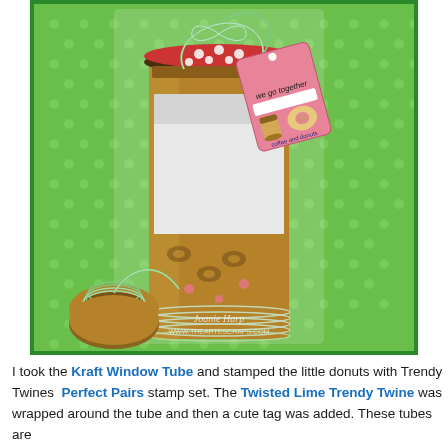[Figure (photo): A kraft window tube wrapped with green and white baker's twine (Twisted Lime Trendy Twine), decorated with stamped donut images, topped with a red polka dot lid, and adorned with a pink gift tag reading 'We go together' with illustrated coffee cup and donut, alongside a spool of green and white twine on a green polka dot background.]
I took the Kraft Window Tube and stamped the little donuts with Trendy Twines Perfect Pairs stamp set. The Twisted Lime Trendy Twine was wrapped around the tube and then a cute tag was added. These tubes are